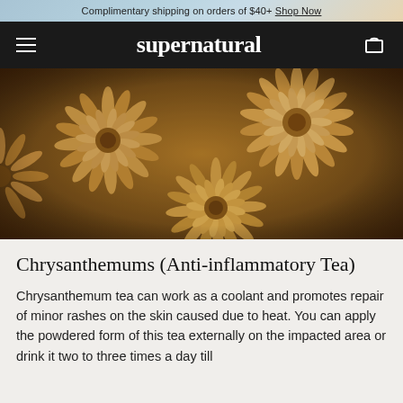Complimentary shipping on orders of $40+ Shop Now
supernatural
[Figure (photo): Close-up photo of golden/amber chrysanthemum flowers filling the entire frame with a warm vintage tone]
Chrysanthemums (Anti-inflammatory Tea)
Chrysanthemum tea can work as a coolant and promotes repair of minor rashes on the skin caused due to heat. You can apply the powdered form of this tea externally on the impacted area or drink it two to three times a day till